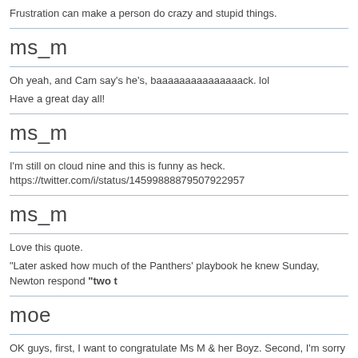Frustration can make a person do crazy and stupid things.
ms_m
Oh yeah, and Cam say's he's, baaaaaaaaaaaaaaack. lol
Have a great day all!
ms_m
I'm still on cloud nine and this is funny as heck.
https://twitter.com/i/status/14599888879507922957
ms_m
Love this quote.
"Later asked how much of the Panthers' playbook he knew Sunday, Newton respond "two t
moe
OK guys, first, I want to congratulate Ms M & her Boyz. Second, I'm sorry Jerry.
Third, how about the WFT?? Damn!! R&B, you have my heartfelt thanks for beating Brady!!
Now, let's get to it. In very cold & rainy weather [& with 3 pairs of long underwear, a down fu
had to be a party of THAT? GEEZ!!!!!!